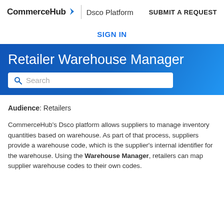CommerceHub | Dsco Platform   SUBMIT A REQUEST
SIGN IN
Retailer Warehouse Manager
Audience: Retailers
CommerceHub's Dsco platform allows suppliers to manage inventory quantities based on warehouse. As part of that process, suppliers provide a warehouse code, which is the supplier's internal identifier for the warehouse. Using the Warehouse Manager, retailers can map supplier warehouse codes to their own codes.